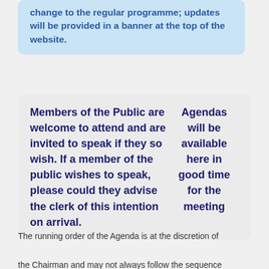change to the regular programme; updates will be provided in a banner at the top of the website.
Members of the Public are welcome to attend and are invited to speak if they so wish. If a member of the public wishes to speak, please could they advise the clerk of this intention on arrival.
Agendas will be available here in good time for the meeting
The running order of the Agenda is at the discretion of the Chairman and may not always follow the sequence